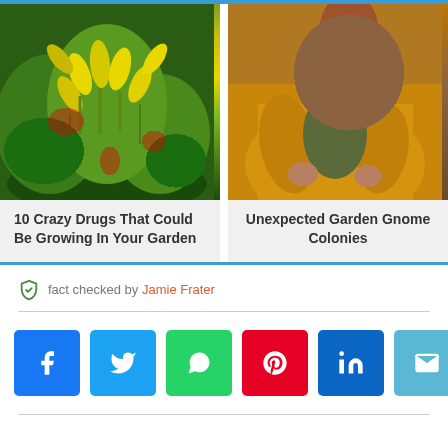[Figure (photo): Left article card showing yellow trumpet flowers (angel's trumpets) growing in a garden with red berries and green foliage]
10 Crazy Drugs That Could Be Growing In Your Garden
[Figure (photo): Right article card showing a person in a mustard/yellow jacket holding a garden gnome figurine]
Unexpected Garden Gnome Colonies
fact checked by Jamie Frater
[Figure (infographic): Row of six social sharing buttons: Facebook, Twitter, WhatsApp, Pinterest, LinkedIn, Email]